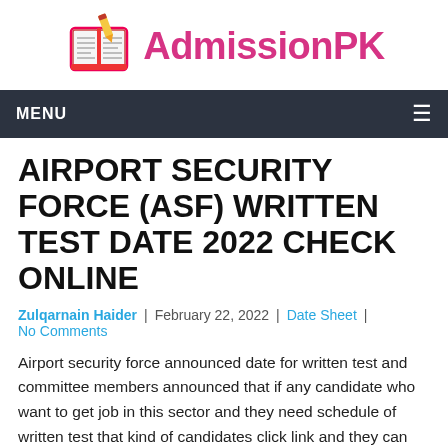[Figure (logo): AdmissionPK logo: open book with pencil icon and stylized pink text 'AdmissionPK']
MENU
AIRPORT SECURITY FORCE (ASF) WRITTEN TEST DATE 2022 CHECK ONLINE
Zulqarnain Haider | February 22, 2022 | Date Sheet | No Comments
Airport security force announced date for written test and committee members announced that if any candidate who want to get job in this sector and they need schedule of written test that kind of candidates click link and they can get all types of dates of written test. ASF announced seats and they also announced that candidates who want to get job and they want to get permanent job that kind of candidates apply for this posts and they can get test